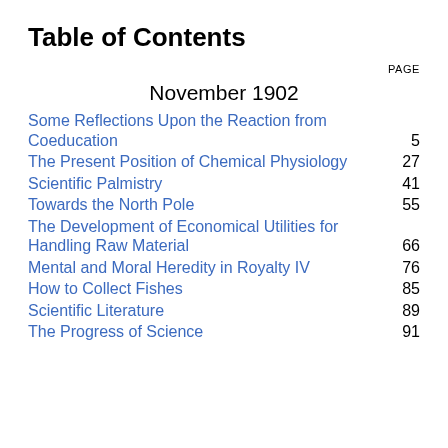Table of Contents
PAGE
November 1902
Some Reflections Upon the Reaction from Coeducation ... 5
The Present Position of Chemical Physiology ... 27
Scientific Palmistry ... 41
Towards the North Pole ... 55
The Development of Economical Utilities for Handling Raw Material ... 66
Mental and Moral Heredity in Royalty IV ... 76
How to Collect Fishes ... 85
Scientific Literature ... 89
The Progress of Science ... 91